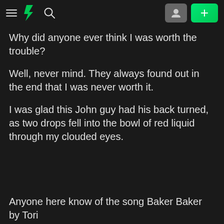[DeviantArt navigation bar with hamburger menu, DA logo, search icon, user icon button, and + button]
Why did anyone ever think I was worth the trouble?
Well, never mind. They always found out in the end that I was never worth it.
I was glad this John guy had his back turned, as two drops fell into the bowl of red liquid through my clouded eyes.
Anyone here know of the song Baker Baker by Tori